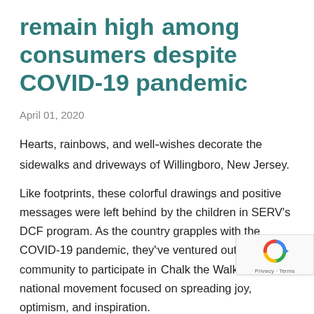remain high among consumers despite COVID-19 pandemic
April 01, 2020
Hearts, rainbows, and well-wishes decorate the sidewalks and driveways of Willingboro, New Jersey.
Like footprints, these colorful drawings and positive messages were left behind by the children in SERV's DCF program. As the country grapples with the COVID-19 pandemic, they've ventured out into the community to participate in Chalk the Walk—a national movement focused on spreading joy, optimism, and inspiration.
“Since we’ve all been practicing social distancing,